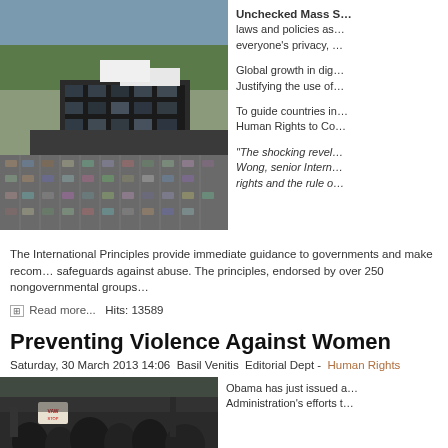[Figure (photo): Aerial photograph of NSA headquarters building complex with large parking lot]
Unchecked Mass S… laws and policies as… everyone's privacy, …

Global growth in dig… Justifying the use of…

To guide countries in… Human Rights to Co…

"The shocking revel… Wong, senior Intern… rights and the rule o…
The International Principles provide immediate guidance to governments and make recom… safeguards against abuse. The principles, endorsed by over 250 nongovernmental groups…
Read more...  Hits: 13589
Preventing Violence Against Women
Saturday, 30 March 2013 14:06  Basil Venitis  Editorial Dept -  Human Rights
[Figure (photo): Protest photo showing people holding signs, dark background]
Obama has just issued a… Administration's efforts t…